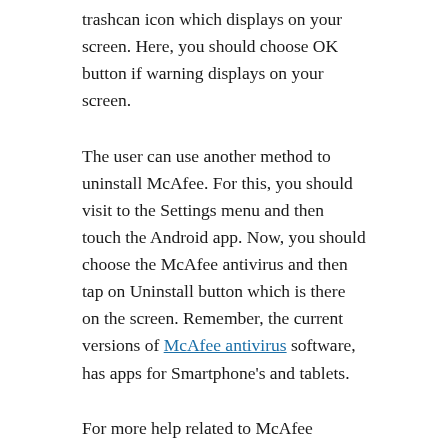trashcan icon which displays on your screen. Here, you should choose OK button if warning displays on your screen.
The user can use another method to uninstall McAfee. For this, you should visit to the Settings menu and then touch the Android app. Now, you should choose the McAfee antivirus and then tap on Uninstall button which is there on the screen. Remember, the current versions of McAfee antivirus software, has apps for Smartphone's and tablets.
For more help related to McAfee antivirus, you should visit to McAfee site via mcafee.com/activate.